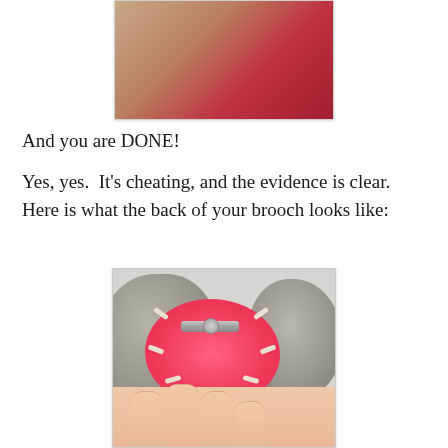[Figure (photo): Close-up photo (partial) of someone's face or hands, cropped at top]
And you are DONE!
Yes, yes.  It's cheating, and the evidence is clear.  Here is what the back of your brooch looks like:
[Figure (photo): Photo of the back of a pink felt brooch held in a hand, resting on stones, showing pin clasp and stitching on reverse side]